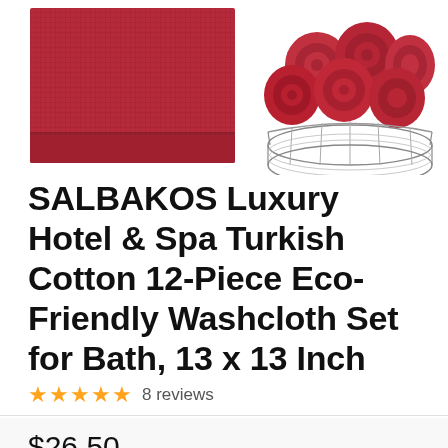[Figure (photo): Two product images of red/crimson Turkish cotton washcloths: left image shows folded flat washcloth, right image shows rolled washcloths in a wire basket.]
SALBAKOS Luxury Hotel & Spa Turkish Cotton 12-Piece Eco-Friendly Washcloth Set for Bath, 13 x 13 Inch
★★★★★ 8 reviews
$26.50